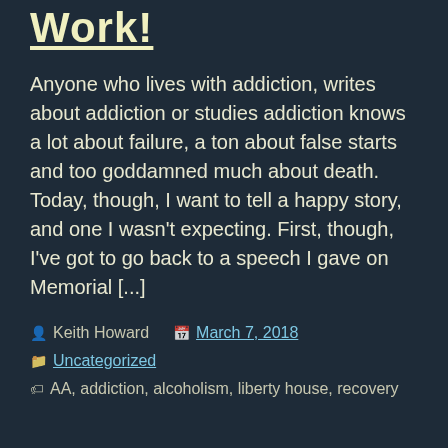Work!
Anyone who lives with addiction, writes about addiction or studies addiction knows a lot about failure, a ton about false starts and too goddamned much about death. Today, though, I want to tell a happy story, and one I wasn't expecting. First, though, I've got to go back to a speech I gave on Memorial [...]
Keith Howard   March 7, 2018
Uncategorized
AA, addiction, alcoholism, liberty house, recovery